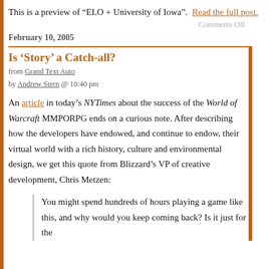This is a preview of “ELO + University of Iowa”. Read the full post.
Comments Off
February 10, 2005
Is ‘Story’ a Catch-all?
from Grand Text Auto
by Andrew Stern @ 10:40 pm
An article in today’s NYTimes about the success of the World of Warcraft MMPORPG ends on a curious note. After describing how the developers have endowed, and continue to endow, their virtual world with a rich history, culture and environmental design, we get this quote from Blizzard’s VP of creative development, Chris Metzen:
You might spend hundreds of hours playing a game like this, and why would you keep coming back? Is it just for the